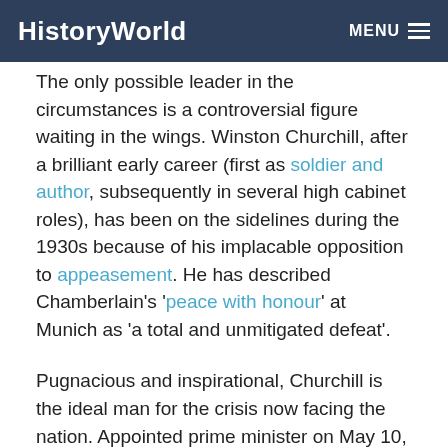HistoryWorld   MENU
The only possible leader in the circumstances is a controversial figure waiting in the wings. Winston Churchill, after a brilliant early career (first as soldier and author, subsequently in several high cabinet roles), has been on the sidelines during the 1930s because of his implacable opposition to appeasement. He has described Chamberlain's 'peace with honour' at Munich as 'a total and unmitigated defeat'.
Pugnacious and inspirational, Churchill is the ideal man for the crisis now facing the nation. Appointed prime minister on May 10, he asks for a vote of confidence from the house of commons on May 13 - and receives it unanimously.
On this occasion, and on many subsequently, Churchill reveals the power of harsh truth transformed by the magic